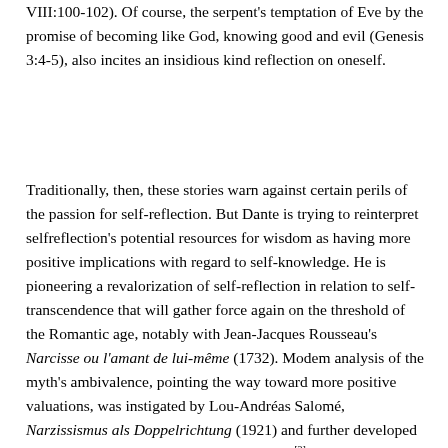VIII:100-102). Of course, the serpent's temptation of Eve by the promise of becoming like God, knowing good and evil (Genesis 3:4-5), also incites an insidious kind reflection on oneself.
Traditionally, then, these stories warn against certain perils of the passion for self-reflection. But Dante is trying to reinterpret selfreflection's potential resources for wisdom as having more positive implications with regard to self-knowledge. He is pioneering a revalorization of self-reflection in relation to self-transcendence that will gather force again on the threshold of the Romantic age, notably with Jean-Jacques Rousseau's Narcisse ou l'amant de lui-même (1732). Modem analysis of the myth's ambivalence, pointing the way toward more positive valuations, was instigated by Lou-Andréas Salomé, Narzissismus als Doppelrichtung (1921) and further developed by the Psychoanalytisches Seminar Ziirick.[2] After all, self-knowledge is the indispensable means to personal